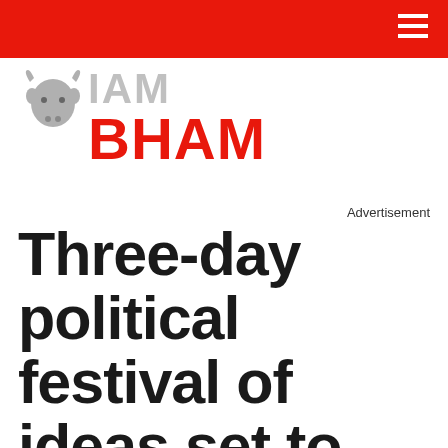[Figure (logo): IAM BHAM logo with grey bull icon on the left and stacked text: grey 'IAM' above red 'BHAM']
Advertisement
Three-day political festival of ideas set to takeover Brum this weekend